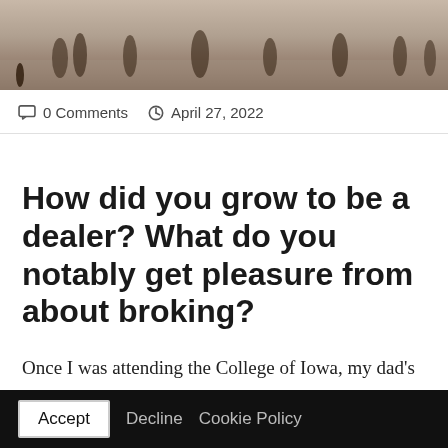[Figure (photo): Blurred sepia-toned photograph of people walking in what appears to be a large indoor space, cropped to show only the upper portion]
0 Comments   April 27, 2022
How did you grow to be a dealer? What do you notably get pleasure from about broking?
Once I was attending the College of Iowa, my dad's cousin, Jim Keough, launched me to the...
Accept   Decline   Cookie Policy